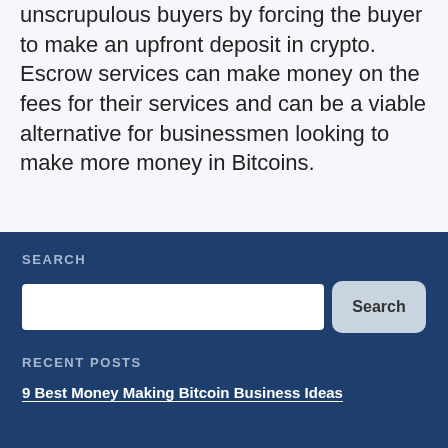unscrupulous buyers by forcing the buyer to make an upfront deposit in crypto. Escrow services can make money on the fees for their services and can be a viable alternative for businessmen looking to make more money in Bitcoins.
SEARCH
[Search input field and Search button]
RECENT POSTS
9 Best Money Making Bitcoin Business Ideas